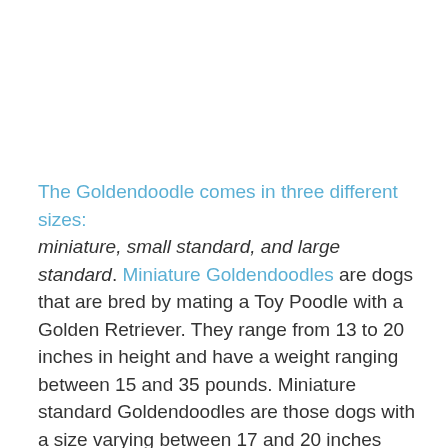The Goldendoodle comes in three different sizes: miniature, small standard, and large standard. Miniature Goldendoodles are dogs that are bred by mating a Toy Poodle with a Golden Retriever. They range from 13 to 20 inches in height and have a weight ranging between 15 and 35 pounds. Miniature standard Goldendoodles are those dogs with a size varying between 17 and 20 inches and an average weight of 40 to 50 pounds. On the other hand, a large Standard Goldendoodle has a height of 20 to 24 inches and a weight between 50 to 90 pounds.